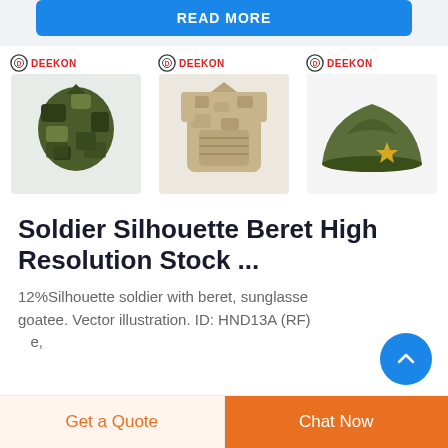READ MORE
[Figure (photo): Three product images from Deekon brand: a camouflage tactical vest, a tan/desert camouflage body armor vest, and an olive green military side cap (garrison cap) with a gold star emblem.]
Soldier Silhouette Beret High Resolution Stock ...
12%Silhouette soldier with beret, sunglasse goatee. Vector illustration. ID: HND13A (RF) ...e,
Get a Quote
Chat Now